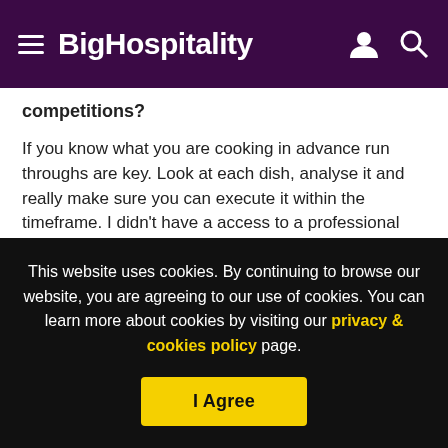BigHospitality
competitions?
If you know what you are cooking in advance run throughs are key. Look at each dish, analyse it and really make sure you can execute it within the timeframe. I didn't have a access to a professional kitchen in the run up to National Chef of the Year but Gary Jones (a former employer of Selby's) very kindly let me practice at Le Manoir. I spent about a week refining the dishes and did about four full
This website uses cookies. By continuing to browse our website, you are agreeing to our use of cookies. You can learn more about cookies by visiting our privacy & cookies policy page.
I Agree